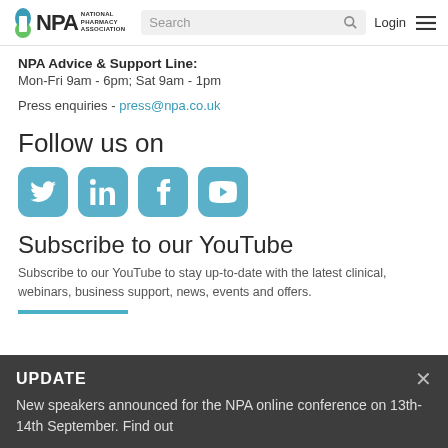NPA National Pharmacy Association — Search — Login
NPA Advice & Support Line:
Mon-Fri 9am - 6pm; Sat 9am - 1pm
Press enquiries - press@npa.co.uk
Follow us on
[Figure (infographic): Four social media icon buttons in teal/blue-green rounded squares: Twitter bird, LinkedIn 'in', Facebook 'f', YouTube play button]
Subscribe to our YouTube
Subscribe to our YouTube to stay up-to-date with the latest clinical, webinars, business support, news, events and offers.
UPDATE
New speakers announced for the NPA online conference on 13th-14th September. Find out